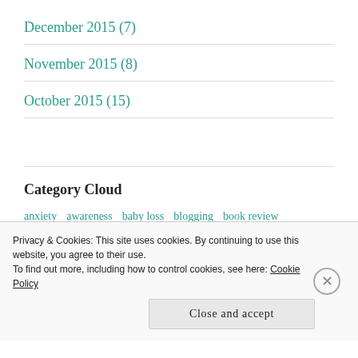December 2015 (7)
November 2015 (8)
October 2015 (15)
Category Cloud
anxiety  awareness  baby loss  blogging  book review  deep thoughts  distractions  faith  grief
Privacy & Cookies: This site uses cookies. By continuing to use this website, you agree to their use. To find out more, including how to control cookies, see here: Cookie Policy
Close and accept